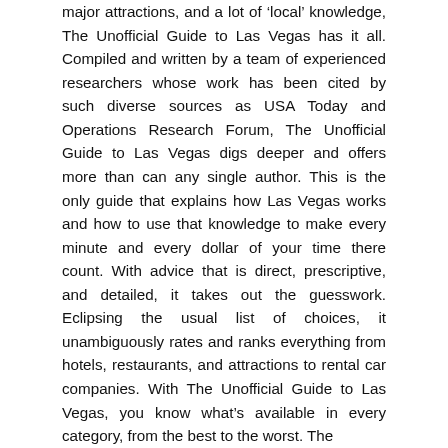major attractions, and a lot of 'local' knowledge, The Unofficial Guide to Las Vegas has it all. Compiled and written by a team of experienced researchers whose work has been cited by such diverse sources as USA Today and Operations Research Forum, The Unofficial Guide to Las Vegas digs deeper and offers more than can any single author. This is the only guide that explains how Las Vegas works and how to use that knowledge to make every minute and every dollar of your time there count. With advice that is direct, prescriptive, and detailed, it takes out the guesswork. Eclipsing the usual list of choices, it unambiguously rates and ranks everything from hotels, restaurants, and attractions to rental car companies. With The Unofficial Guide to Las Vegas, you know what's available in every category, from the best to the worst. The